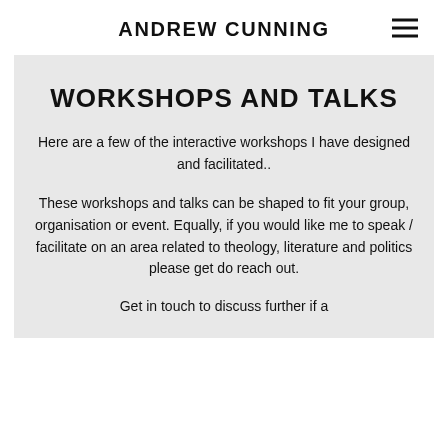ANDREW CUNNING
WORKSHOPS AND TALKS
Here are a few of the interactive workshops I have designed and facilitated..
These workshops and talks can be shaped to fit your group, organisation or event. Equally, if you would like me to speak / facilitate on an area related to theology, literature and politics please get do reach out.
Get in touch to discuss further if a